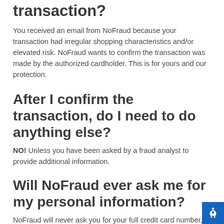transaction?
You received an email from NoFraud because your transaction had irregular shopping characteristics and/or elevated risk. NoFraud wants to confirm the transaction was made by the authorized cardholder. This is for yours and our protection.
After I confirm the transaction, do I need to do anything else?
NO! Unless you have been asked by a fraud analyst to provide additional information.
Will NoFraud ever ask me for my personal information?
NoFraud will never ask you for your full credit card number, social security number or any other personal